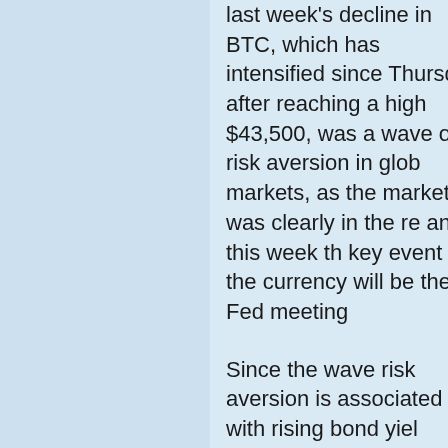last week's decline in BTC, which has intensified since Thursday after reaching a high $43,500, was a wave of risk aversion in global markets, as the market was clearly in the red and this week the key event for the currency will be the Fed meeting
Since the wave risk aversion is associated with rising bond yield